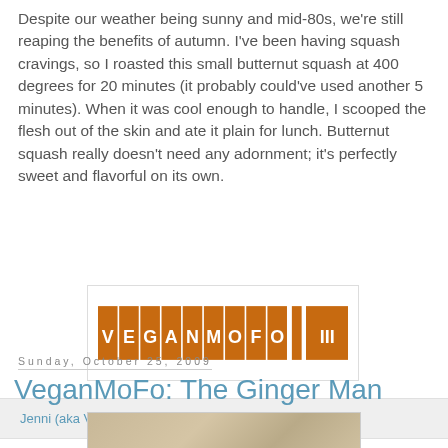Despite our weather being sunny and mid-80s, we're still reaping the benefits of autumn. I've been having squash cravings, so I roasted this small butternut squash at 400 degrees for 20 minutes (it probably could've used another 5 minutes). When it was cool enough to handle, I scooped the flesh out of the skin and ate it plain for lunch. Butternut squash really doesn't need any adornment; it's perfectly sweet and flavorful on its own.
[Figure (logo): VeganMoFo III logo — orange block letter tiles spelling VEGANMOFO with III on the right]
Jenni (aka Vegyogini) at 7:40 AM    5 comments:
Sunday, October 25, 2009
VeganMoFo: The Ginger Man
[Figure (photo): A photo showing a food item on a granite countertop, partially visible at the bottom of the page]